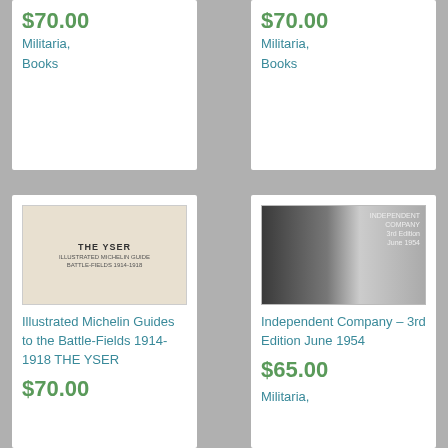$70.00 (cropped top-left card price)
Militaria, Books
$70.00 (cropped top-right card price)
Militaria, Books
[Figure (photo): Book cover of 'THE YSER' - Illustrated Michelin Guides to the Battle-Fields 1914-1918, cream/beige colored cover with text]
Illustrated Michelin Guides to the Battle-Fields 1914-1918 THE YSER
$70.00
[Figure (photo): Book cover of 'Independent Company - 3rd Edition June 1954', dark cover with figure illustration]
Independent Company – 3rd Edition June 1954
$65.00
Militaria,